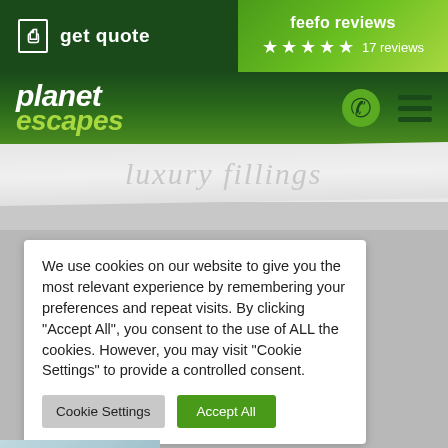get quote
feefo reviews ★★★★★ 17 reviews
[Figure (logo): Planet Escapes logo with italic white 'planet' and green 'escapes' text on dark green background, with phone and menu icons]
luxury fillings
We use cookies on our website to give you the most relevant experience by remembering your preferences and repeat visits. By clicking "Accept All", you consent to the use of ALL the cookies. However, you may visit "Cookie Settings" to provide a controlled consent.
Cookie Settings
Accept All